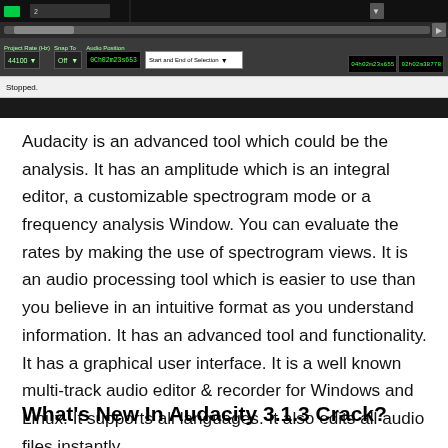[Figure (screenshot): Screenshot of Audacity audio editor interface showing dark toolbar with project rate 44100, Snap To Off controls, Audio Position display showing times like 0Ch02m23s653, 04h02m23s655, 02h02m38778, Start and End of Selection dropdown, and a Stopped status bar at the bottom.]
Audacity is an advanced tool which could be the analysis. It has an amplitude which is an integral editor, a customizable spectrogram mode or a frequency analysis Window. You can evaluate the rates by making the use of spectrogram views. It is an audio processing tool which is easier to use than you believe in an intuitive format as you understand information. It has an advanced tool and functionality. It has a graphical user interface. It is a well known multi-track audio editor & recorder for Windows and Linux. It supports all languages. It also edits all audio files instantly.
What's New In Audacity 3.1.3 Crack?